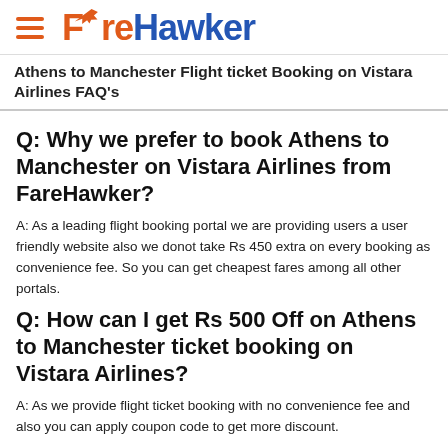FareHawker
Athens to Manchester Flight ticket Booking on Vistara Airlines FAQ's
Q: Why we prefer to book Athens to Manchester on Vistara Airlines from FareHawker?
A: As a leading flight booking portal we are providing users a user friendly website also we donot take Rs 450 extra on every booking as convenience fee. So you can get cheapest fares among all other portals.
Q: How can I get Rs 500 Off on Athens to Manchester ticket booking on Vistara Airlines?
A: As we provide flight ticket booking with no convenience fee and also you can apply coupon code to get more discount.